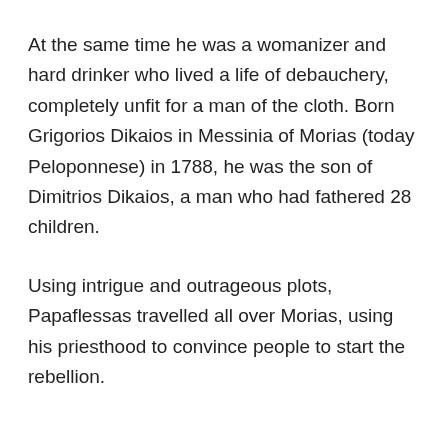At the same time he was a womanizer and hard drinker who lived a life of debauchery, completely unfit for a man of the cloth. Born Grigorios Dikaios in Messinia of Morias (today Peloponnese) in 1788, he was the son of Dimitrios Dikaios, a man who had fathered 28 children.
Using intrigue and outrageous plots, Papaflessas travelled all over Morias, using his priesthood to convince people to start the rebellion.